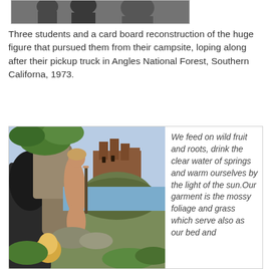[Figure (photo): Black and white photo showing three students and a cardboard reconstruction of a large figure, cropped at the top of the page.]
Three students and a card board reconstruction of the huge figure that pursued them from their campsite, loping along after their pickup truck in Angles National Forest, Southern Californa, 1973.
[Figure (illustration): Medieval illuminated manuscript illustration showing a nude female figure standing near a cave entrance, with a castle on a rocky hill in the background and another figure at the bottom.]
We feed on wild fruit and roots, drink the clear water of springs and warm ourselves by the light of the sun.Our garment is the mossy foliage and grass which serve also as our bed and